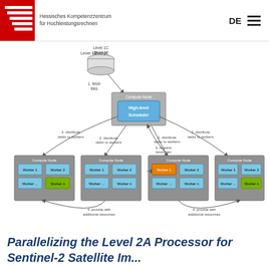Hessisches Kompetenzzentrum für Hochleistungsrechnen | DE
[Figure (flowchart): Distributed computing architecture diagram showing a High-level Scheduler on a Compute Node connected to a Level 1C Storage (fetch tiles), and distributing tasks to 4 Compute Nodes each with Worker 1, Worker 2, Worker ..., Worker n boxes. One worker (Worker 1) is highlighted orange. Steps include: 1. fetch tiles, 2. distribute tasks to workers, 3. request resources, 4. provide with additional resources.]
Parallelizing the Level 2A Processor for Sentinel-2 Satellite Images